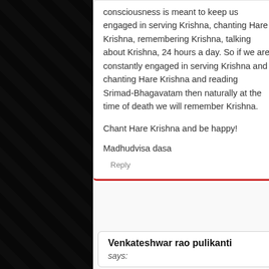consciousness is meant to keep us engaged in serving Krishna, chanting Hare Krishna, remembering Krishna, talking about Krishna, 24 hours a day. So if we are constantly engaged in serving Krishna and chanting Hare Krishna and reading Srimad-Bhagavatam then naturally at the time of death we will remember Krishna.
Chant Hare Krishna and be happy!
Madhudvisa dasa
Reply
Venkateshwar rao pulikanti
says: